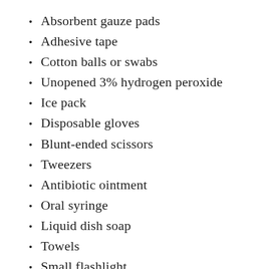Absorbent gauze pads
Adhesive tape
Cotton balls or swabs
Unopened 3% hydrogen peroxide
Ice pack
Disposable gloves
Blunt-ended scissors
Tweezers
Antibiotic ointment
Oral syringe
Liquid dish soap
Towels
Small flashlight
Alcohol wipes
Styptic powder
Saline eye solution
Artificial tear ointment